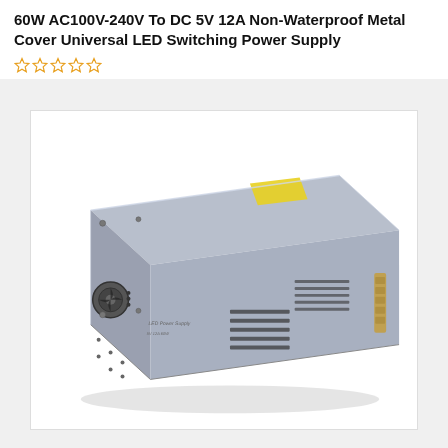60W AC100V-240V To DC 5V 12A Non-Waterproof Metal Cover Universal LED Switching Power Supply
[Figure (photo): Photo of a 60W AC100V-240V to DC 5V 12A metal cover LED switching power supply unit. The device is a rectangular silver/grey metal box with ventilation slots on the side, a cooling fan grille on the front face, a yellow warning label on top, and terminal connectors visible on the right side.]